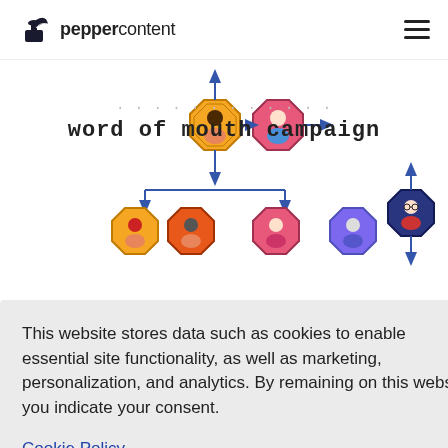peppercontent
word of mouth campaign
[Figure (infographic): Word of mouth campaign network diagram showing octagon-shaped person icons connected by arrows, indicating sharing/referral flow. Multiple colored octagon shapes with cartoon person avatars arranged in a tree/network structure.]
This website stores data such as cookies to enable essential site functionality, as well as marketing, personalization, and analytics. By remaining on this website you indicate your consent.
Cookie Policy